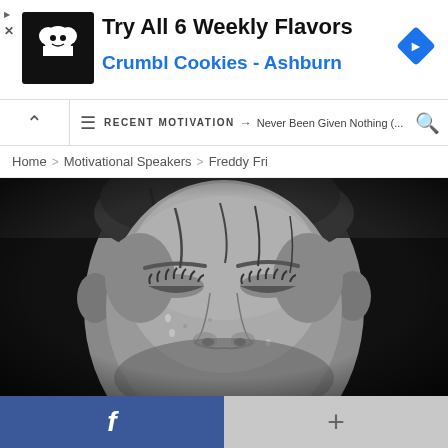[Figure (screenshot): Advertisement banner for Crumbl Cookies - Ashburn with logo and navigation icon]
RECENT MOTIVATION → Never Been Given Nothing (... [search icon]
Home > Motivational Speakers > Freddy Fri
[Figure (photo): Black and white close-up photograph of a young person with eyes closed, tears streaming down face, dark background]
f [Facebook share button] + [other share button]